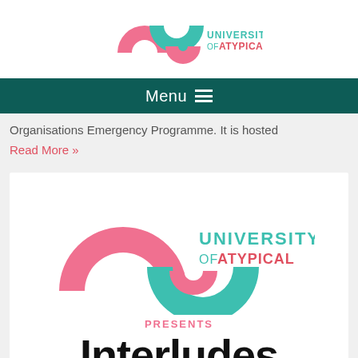[Figure (logo): University of Atypical logo — teal and pink S-shaped curves with text UNIVERSITY OF ATYPICAL]
Menu
Organisations Emergency Programme. It is hosted
Read More »
[Figure (logo): University of Atypical large logo with UNIVERSITY OF ATYPICAL PRESENTS text above Interludes]
Interludes